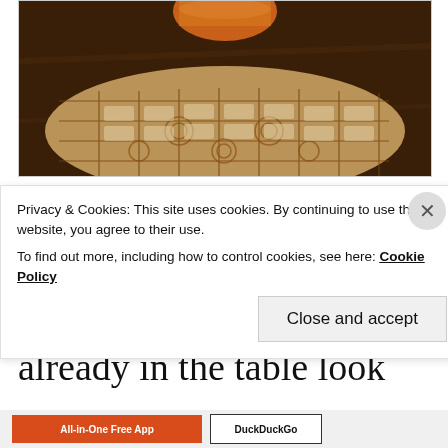[Figure (photo): Close-up photo of a decorative lace doily or ornate textile with brown/copper geometric patterns on a dark wooden background, with a partial view of an orange vase at the top]
Advertisements
The orange vase was
already in the table look
Privacy & Cookies: This site uses cookies. By continuing to use this website, you agree to their use.
To find out more, including how to control cookies, see here: Cookie Policy
Close and accept
[Figure (infographic): Bottom advertisement bar with orange 'All-in-One Free App' button and DuckDuckGo search button]